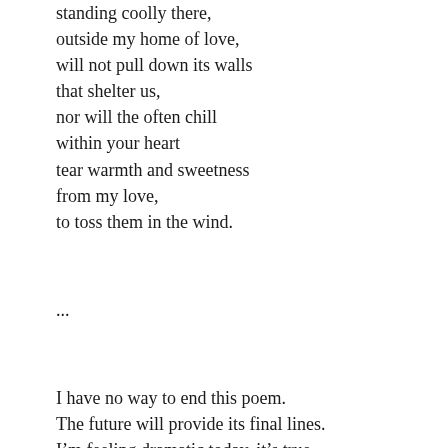standing coolly there,
outside my home of love,
will not pull down its walls
that shelter us,
nor will the often chill
within your heart
tear warmth and sweetness
from my love,
to toss them in the wind.

...

I have no way to end this poem.
The future will provide its final lines.
I'm feeling dramatic today, it's true,
but the pain I write in is real.
I want to see your eyes, see the boundary between
the moment and you.
This is what moment for being really in to me the